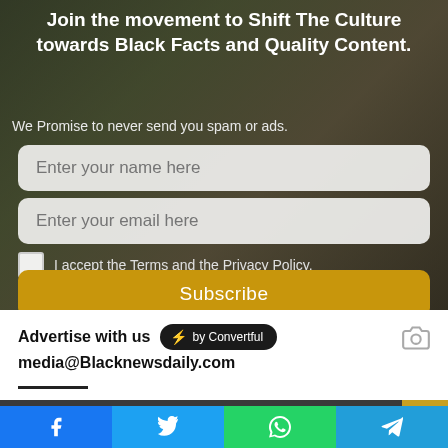Join the movement to Shift The Culture towards Black Facts and Quality Content.
We Promise to never send you spam or ads.
Enter your name here
Enter your email here
I accept the Terms and the Privacy Policy.
Subscribe
Advertise with us ⚡ by Convertful media@Blacknewsdaily.com
CONTACT US TODAY
[Figure (infographic): Social media share bar with Facebook, Twitter, WhatsApp, and Telegram icons]